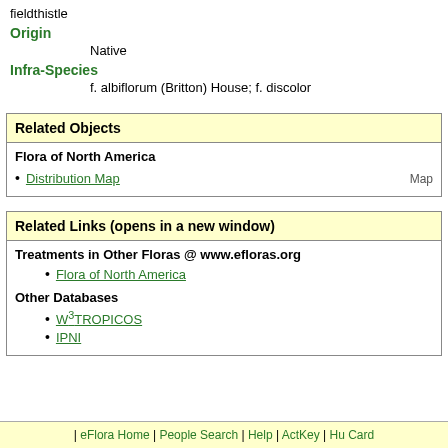fieldthistle
Origin
Native
Infra-Species
f. albiflorum (Britton) House; f. discolor
| Related Objects |
| --- |
| Flora of North America |
| Distribution Map | Map |
| Related Links (opens in a new window) |
| --- |
| Treatments in Other Floras @ www.efloras.org |
| Flora of North America |
| Other Databases |
| W3TROPICOS |
| IPNI |
| eFlora Home | People Search | Help | ActKey | Hu Card